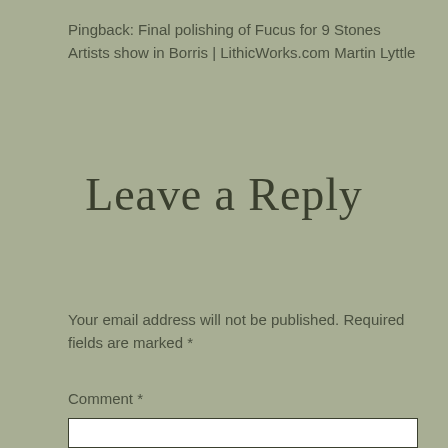Pingback: Final polishing of Fucus for 9 Stones Artists show in Borris | LithicWorks.com Martin Lyttle
Leave a Reply
Your email address will not be published. Required fields are marked *
Comment *